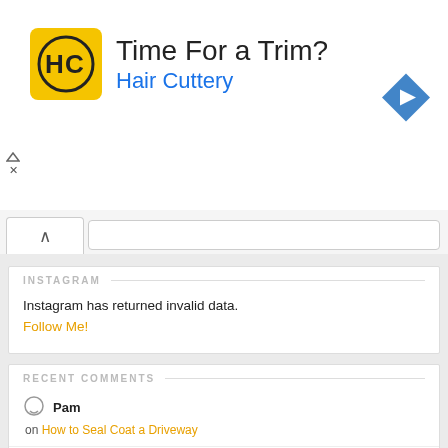[Figure (other): Hair Cuttery advertisement banner with yellow logo, 'Time For a Trim?' headline, 'Hair Cuttery' subheading in blue, and a blue diamond navigation arrow icon on the right]
INSTAGRAM
Instagram has returned invalid data.
Follow Me!
RECENT COMMENTS
Pam
on How to Seal Coat a Driveway
TheDIYDoghouse
on How to Install Drywall like a Pro
TheDIYDoghouse